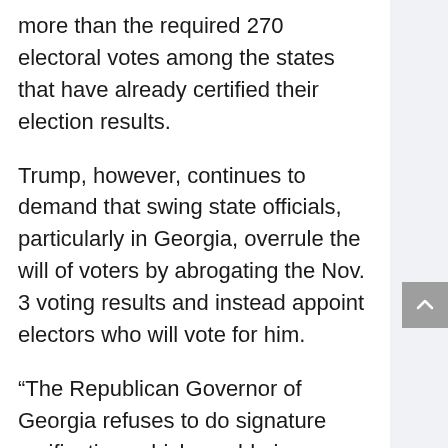more than the required 270 electoral votes among the states that have already certified their election results.
Trump, however, continues to demand that swing state officials, particularly in Georgia, overrule the will of voters by abrogating the Nov. 3 voting results and instead appoint electors who will vote for him.
“The Republican Governor of Georgia refuses to do signature verification, which would give us an easy win. What’s wrong with this guy? What is he hiding?”